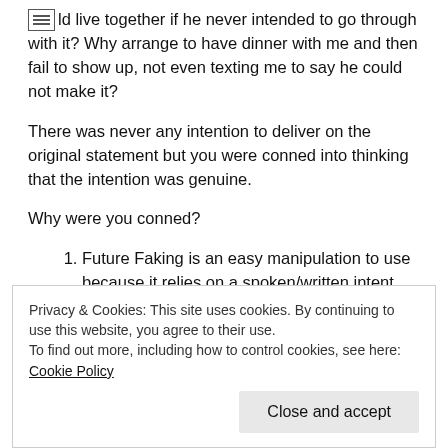would live together if he never intended to go through with it? Why arrange to have dinner with me and then fail to show up, not even texting me to say he could not make it?
There was never any intention to deliver on the original statement but you were conned into thinking that the intention was genuine.
Why were you conned?
Future Faking is an easy manipulation to use because it relies on a spoken/written intent with no associated requirement to deliver. Thus it is very low in energy expenditure and as you know, we like to achieve the maximum outcome with the minimum expenditure of time,
Privacy & Cookies: This site uses cookies. By continuing to use this website, you agree to their use.
To find out more, including how to control cookies, see here: Cookie Policy
Close and accept